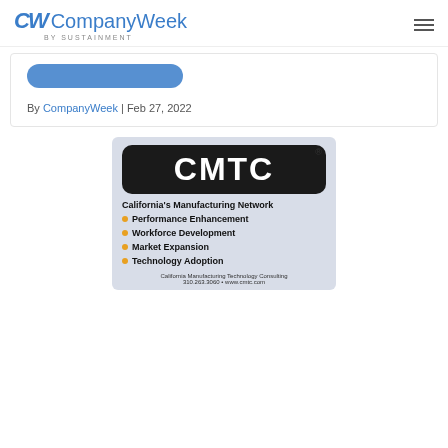CompanyWeek by SUSTAINMENT
By CompanyWeek | Feb 27, 2022
[Figure (logo): CMTC advertisement — California's Manufacturing Network. Lists: Performance Enhancement, Workforce Development, Market Expansion, Technology Adoption. California Manufacturing Technology Consulting, 310.263.3060, www.cmtc.com]